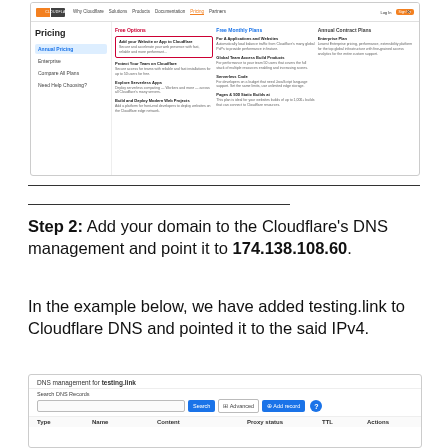[Figure (screenshot): Cloudflare Pricing page screenshot showing navigation bar with logo and menu items (Why Cloudflare, Solutions, Products, Documentation, Pricing, Partners), and content sections: Free Options, Free Monthly Plans, Annual Contract Plans with various feature items listed.]
Step 2: Add your domain to the Cloudflare's DNS management and point it to 174.138.108.60.
In the example below, we have added testing.link to Cloudflare DNS and pointed it to the said IPv4.
[Figure (screenshot): Cloudflare DNS management interface showing 'DNS management for testing.link' header, search DNS Records field with Search button, Advanced button, Add record button, a help icon, and a table header with columns: Type, Name, Content, Proxy status, TTL, Actions.]